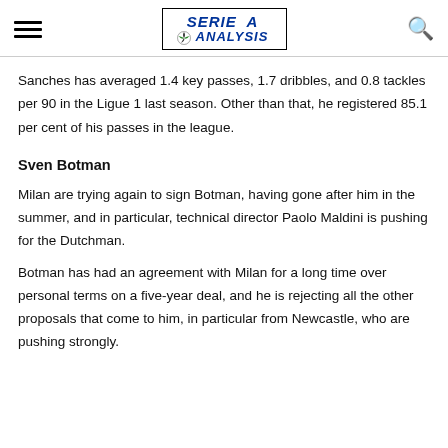SERIE A ANALYSIS
Sanches has averaged 1.4 key passes, 1.7 dribbles, and 0.8 tackles per 90 in the Ligue 1 last season. Other than that, he registered 85.1 per cent of his passes in the league.
Sven Botman
Milan are trying again to sign Botman, having gone after him in the summer, and in particular, technical director Paolo Maldini is pushing for the Dutchman.
Botman has had an agreement with Milan for a long time over personal terms on a five-year deal, and he is rejecting all the other proposals that come to him, in particular from Newcastle, who are pushing strongly.